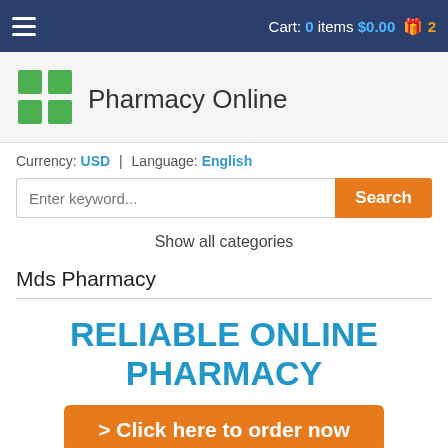Cart: 0 items $0.00 🎁 2
[Figure (logo): Green plus/cross pharmacy logo with four squares forming a cross shape]
Pharmacy Online
Currency: USD | Language: English
Enter keyword... Search
Show all categories
Mds Pharmacy
RELIABLE ONLINE PHARMACY
> Click here to order now